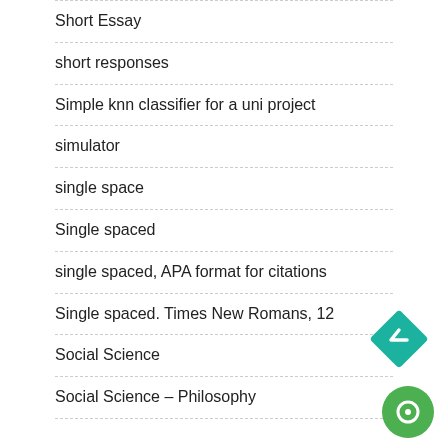Short Essay
short responses
Simple knn classifier for a uni project
simulator
single space
Single spaced
single spaced, APA format for citations
Single spaced. Times New Romans, 12
Social Science
Social Science – Philosophy